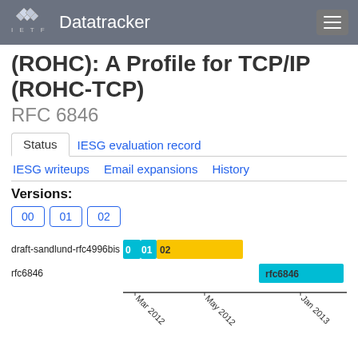IETF Datatracker
(ROHC): A Profile for TCP/IP (ROHC-TCP)
RFC 6846
Status | IESG evaluation record | IESG writeups | Email expansions | History
Versions:
00  01  02
[Figure (bar-chart): Timeline of draft-sandlund-rfc4996bis and rfc6846]